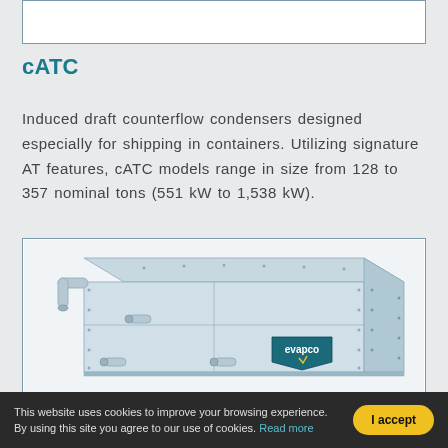[Figure (photo): Top portion of an Evapco cATC induced draft counterflow condenser unit (partially visible at top of page)]
cATC
Induced draft counterflow condensers designed especially for shipping in containers. Utilizing signature AT features, cATC models range in size from 128 to 357 nominal tons (551 kW to 1,538 kW).
[Figure (photo): Photograph of an Evapco cATC induced draft counterflow condenser unit — a large rectangular metallic housing with pipe connections on the side and the Evapco logo on the front panel.]
This website uses cookies to improve your browsing experience. By using this site you agree to our use of cookies. Read more